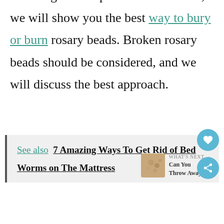should destroy the rosary before choosing either option. In this article, we will show you the best way to bury or burn rosary beads. Broken rosary beads should be considered, and we will discuss the best approach.
See also  7 Amazing Ways To Get Rid of Bed Worms on The Mattress
WHAT'S NEXT → Can You Throw Away...